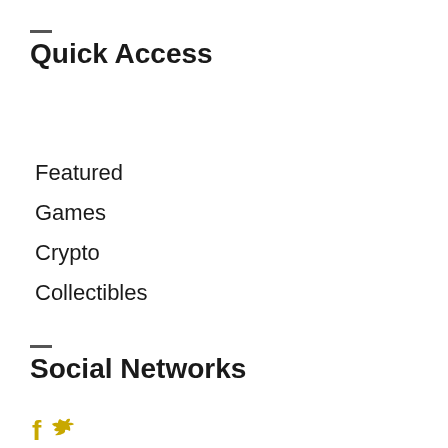Quick Access
Featured
Games
Crypto
Collectibles
Social Networks
[Figure (logo): Social network icons showing a stylized 'f' letter in gold/yellow and a Twitter bird icon in gold/yellow]